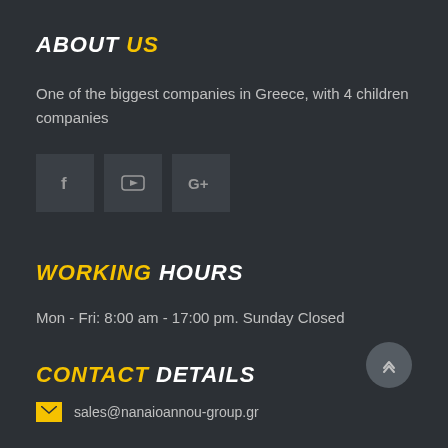ABOUT US
One of the biggest companies in Greece, with 4 children companies
[Figure (infographic): Three social media icon buttons: Facebook (f), YouTube, and Google+ (G+), displayed as dark square buttons]
WORKING HOURS
Mon - Fri: 8:00 am - 17:00 pm. Sunday Closed
CONTACT DETAILS
sales@nanaioannou-group.gr